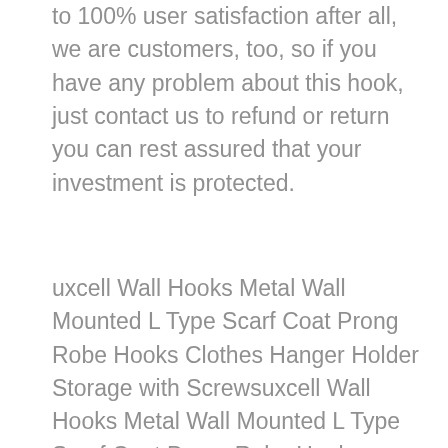to 100% user satisfaction after all, we are customers, too, so if you have any problem about this hook, just contact us to refund or return you can rest assured that your investment is protected.
uxcell Wall Hooks Metal Wall Mounted L Type Scarf Coat Prong Robe Hooks Clothes Hanger Holder Storage with Screwsuxcell Wall Hooks Metal Wall Mounted L Type Scarf Coat Prong Robe Hooks Clothes Hanger Holder Storage with Screws - Quantity, 1 x wall hook, total size 49 x 21 x 29mm/193" x 083" x 114"(lwh)